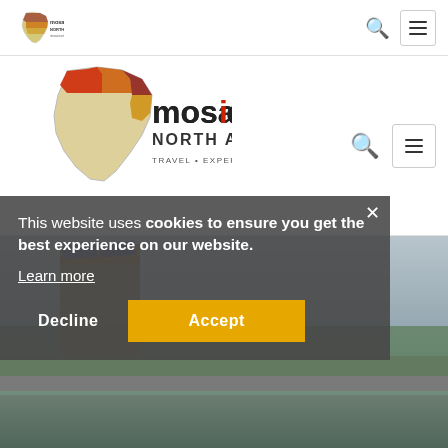[Figure (logo): Mosaic North Africa logo small — Africa map shape with colored regions and text 'mosaic NORTH AFRICA' in top navigation bar]
[Figure (logo): Mosaic North Africa large logo — Africa continent outline with colored country highlights (red, orange, gold), text 'mosaic NORTH AFRICA TRAVEL · EXPERIENCE · LEARN']
[Figure (screenshot): Background photo of a rooftop or terrace view with water feature in foreground and cityscape with trees in background, partially obscured by cookie consent overlay]
This website uses cookies to ensure you get the best experience on our website.
Learn more
Decline
Accept